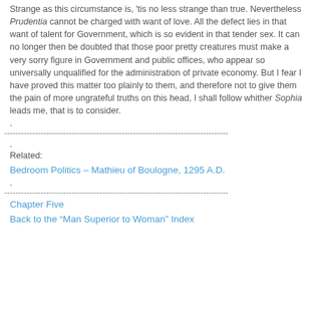Strange as this circumstance is, 'tis no less strange than true. Nevertheless Prudentia cannot be charged with want of love. All the defect lies in that want of talent for Government, which is so evident in that tender sex. It can no longer then be doubted that those poor pretty creatures must make a very sorry figure in Government and public offices, who appear so universally unqualified for the administration of private economy. But I fear I have proved this matter too plainly to them, and therefore not to give them the pain of more ungrateful truths on this head, I shall follow whither Sophia leads me, that is to consider.
.
--------------------------------------------------------------------------------
.
Related:
Bedroom Politics – Mathieu of Boulogne, 1295 A.D.
.
--------------------------------------------------------------------------------
Chapter Five
Back to the “Man Superior to Woman” Index